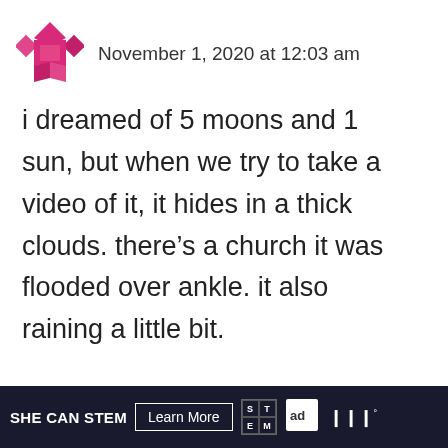[Figure (illustration): Pink/magenta geometric avatar icon with diamond/arrow shapes]
November 1, 2020 at 12:03 am
i dreamed of 5 moons and 1 sun, but when we try to take a video of it, it hides in a thick clouds. there’s a church it was flooded over ankle. it also raining a little bit.
Reply
55
[Figure (infographic): SHE CAN STEM advertisement banner with Learn More button, STEM logo, Ad Council logo]
SHE CAN STEM  Learn More